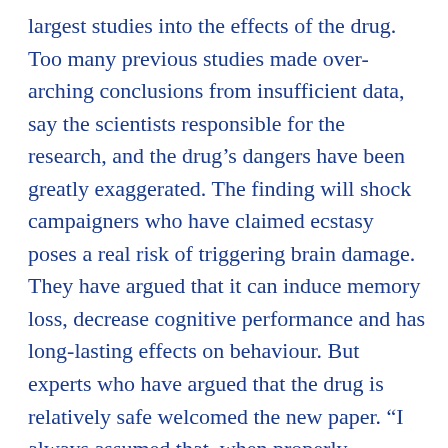largest studies into the effects of the drug. Too many previous studies made over-arching conclusions from insufficient data, say the scientists responsible for the research, and the drug's dangers have been greatly exaggerated. The finding will shock campaigners who have claimed ecstasy poses a real risk of triggering brain damage. They have argued that it can induce memory loss, decrease cognitive performance and has long-lasting effects on behaviour. But experts who have argued that the drug is relatively safe welcomed the new paper. “I always assumed that, when properly designed studies were carried out, we would find ecstasy does not cause brain damage,” said Professor David Nutt, who was fired as chair of the Advisory Council on the Misuse of Drugs by Alan Johnson, then